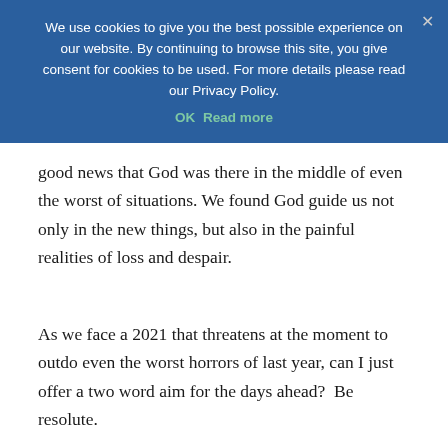compelling novelty. Despite all the pain and anxiety of the last year... new things, but also in the painful realities of loss and despair.
We use cookies to give you the best possible experience on our website. By continuing to browse this site, you give consent for cookies to be used. For more details please read our Privacy Policy.
As we face a 2021 that threatens at the moment to outdo even the worst horrors of last year, can I just offer a two word aim for the days ahead?  Be resolute.
Remember what you achieved in all the mess of 2020; remember what we managed as a church and community; remember that God was not far off.  Be resolute, my friends, and this “winter of discontent” will pass.